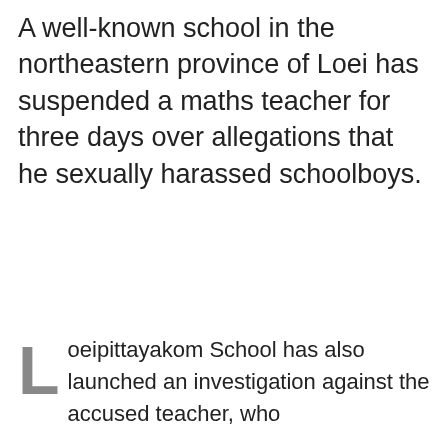A well-known school in the northeastern province of Loei has suspended a maths teacher for three days over allegations that he sexually harassed schoolboys.
Loeipittayakom School has also launched an investigation against the accused teacher, who